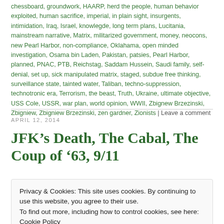chessboard, groundwork, HAARP, herd the people, human behavior exploited, human sacrifice, imperial, in plain sight, insurgents, intimidation, Iraq, Israel, knowlegde, long term plans, Lucitania, mainstream narrative, Matrix, militarized government, money, neocons, new Pearl Harbor, non-compliance, Oklahama, open minded investigation, Osama bin Laden, Pakistan, patsies, Pearl Harbor, planned, PNAC, PTB, Reichstag, Saddam Hussein, Saudi family, self-denial, set up, sick manipulated matrix, staged, subdue free thinking, surveillance state, tainted water, Taliban, techno-suppression, technotronic era, Terrorism, the beast, Truth, Ukraine, ultimate objective, USS Cole, USSR, war plan, world opinion, WWII, Zbignew Brzezinski, Zbigniew, Zbigniew Brzezinski, zen gardner, Zionists | Leave a comment
APRIL 12, 2014
JFK’s Death, The Cabal, The Coup of ’63, 9/11
Privacy & Cookies: This site uses cookies. By continuing to use this website, you agree to their use.
To find out more, including how to control cookies, see here: Cookie Policy